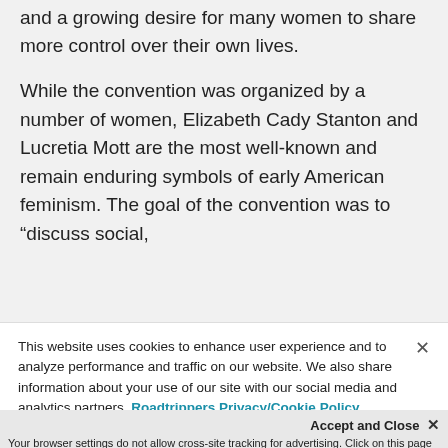and a growing desire for many women to share more control over their own lives.
While the convention was organized by a number of women, Elizabeth Cady Stanton and Lucretia Mott are the most well-known and remain enduring symbols of early American feminism. The goal of the convention was to "discuss social,
This website uses cookies to enhance user experience × and to analyze performance and traffic on our website. We also share information about your use of our site with our social media and analytics partners. Roadtrippers Privacy/Cookie Policy
Accept and Close × Your browser settings do not allow cross-site tracking for advertising. Click on this page to allow AdRoll to use cross-site tracking to tailor ads to you. Learn more or opt out of this AdRoll tracking by clicking here. This message only appears once.